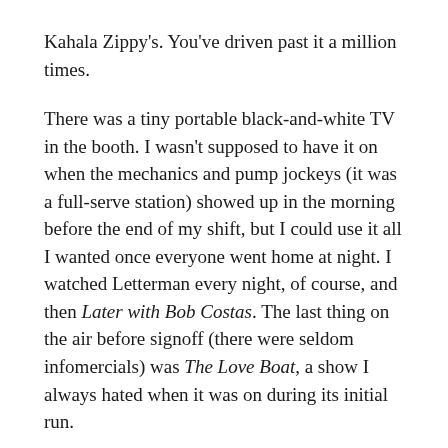Kahala Zippy's. You've driven past it a million times.
There was a tiny portable black-and-white TV in the booth. I wasn't supposed to have it on when the mechanics and pump jockeys (it was a full-serve station) showed up in the morning before the end of my shift, but I could use it all I wanted once everyone went home at night. I watched Letterman every night, of course, and then Later with Bob Costas. The last thing on the air before signoff (there were seldom infomercials) was The Love Boat, a show I always hated when it was on during its initial run.
It was a much better show at two in the morning, lemme tell you. I loved it, and dreaded the credit scroll at the end of every episode.
After the first few weeks, I brought my computer with